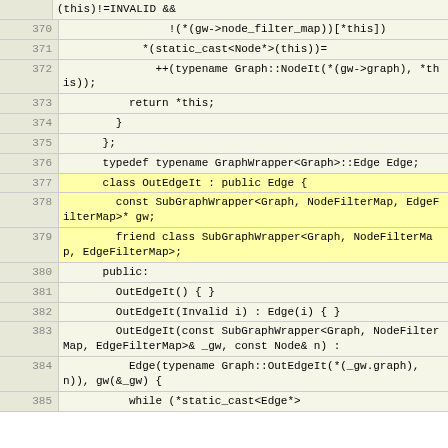[Figure (screenshot): Source code listing showing C++ code for a SubGraphWrapper class with line numbers 370-385. Lines include node filter map operations, static_cast operations, typename Graph::NodeIt increment, return statement, closing braces, typedef for Edge, OutEdgeIt class definition inheriting from Edge, const SubGraphWrapper pointer member gw, friend class declaration, public section, constructors OutEdgeIt(), OutEdgeIt(Invalid), OutEdgeIt with SubGraphWrapper and Node parameters, Edge constructor with typename Graph::OutEdgeIt, and while loop beginning.]